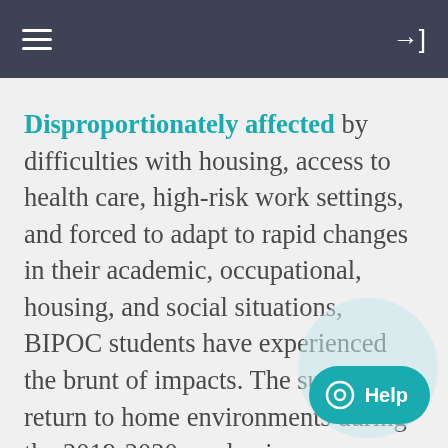≡  →]
Disproportionately affected by difficulties with housing, access to health care, high-risk work settings, and forced to adapt to rapid changes in their academic, occupational, housing, and social situations, BIPOC students have experienced the brunt of impacts. The sudden return to home environments during the 2019-2020 academic year introduced or exacerbated mental health challenges for these students, along with the overwhelming and overwhelming burden of finances, illness, and death on top